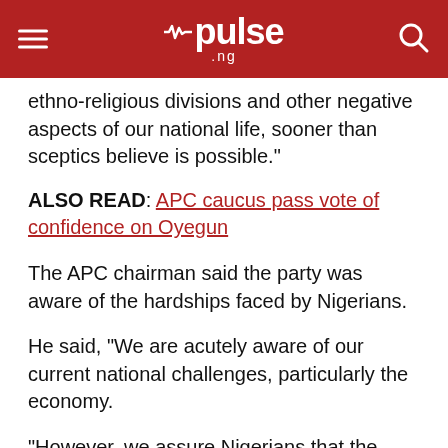pulse.ng
ethno-religious divisions and other negative aspects of our national life, sooner than sceptics believe is possible."
ALSO READ: APC caucus pass vote of confidence on Oyegun
The APC chairman said the party was aware of the hardships faced by Nigerians.
He said, "We are acutely aware of our current national challenges, particularly the economy.
"However, we assure Nigerians that the administration is not asleep, but working assiduously to address these challenges and meet the expectations of Nigerians.